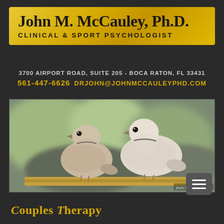John M. McCauley, Ph.D.
CLINICAL & SPORT PSYCHOLOGIST
3700 AIRPORT ROAD, SUITE 205 - BOCA RATON, FL 33431
561-447-6626  DRJOHN@JOHNMCCAULEYPHD.COM
[Figure (photo): Two white/light-colored doves or pigeons sitting together on a surface, with a blurred green and grey background]
photo by John McCa...
Couples Therapy